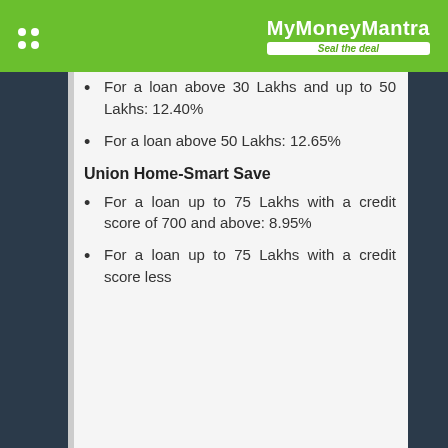MyMoneyMantra – Seal the deal
For a loan above 30 Lakhs and up to 50 Lakhs: 12.40%
For a loan above 50 Lakhs: 12.65%
Union Home-Smart Save
For a loan up to 75 Lakhs with a credit score of 700 and above: 8.95%
For a loan up to 75 Lakhs with a credit score less